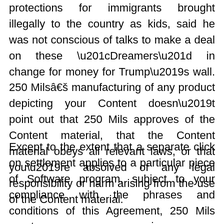protections for immigrants brought illegally to the country as kids, said he was not conscious of talks to make a deal on these “Dreamers” in change for money for Trump’s wall. 250 Milsâ€š manufacturing of any product depicting your Content doesn’t point out that 250 Mils approves of the Content material, that the Content material obeys all relevant laws, or that you’re absolved of any legal responsibility or harm arising from the use of the Content material.
Except to the extent that a separate click on settlement applies to a particular piece of Software program, subject to your compliance with the phrases and conditions of this Agreement, 250 Mils grants you a non-unique, non-transferable,